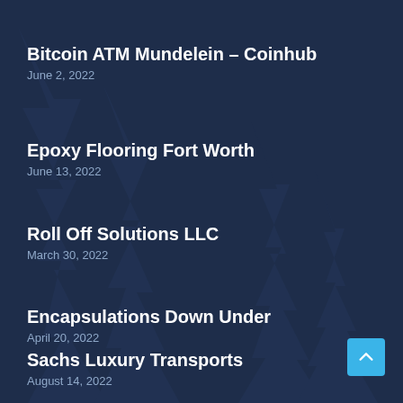Bitcoin ATM Mundelein – Coinhub
June 2, 2022
Epoxy Flooring Fort Worth
June 13, 2022
Roll Off Solutions LLC
March 30, 2022
Encapsulations Down Under
April 20, 2022
Sachs Luxury Transports
August 14, 2022